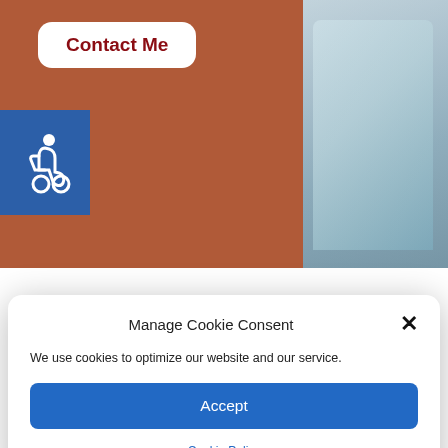[Figure (screenshot): Website header with rust/brown background color, a 'Contact Me' button in white rounded rectangle with dark red text, a blue accessibility icon square, and a partial photo of a person in a light blue dress on the right side.]
Contact Me
[Figure (infographic): Cookie consent modal dialog with 'Manage Cookie Consent' title, X close button, text 'We use cookies to optimize our website and our service.', a blue Accept button, and a Cookie Policy link.]
Manage Cookie Consent
We use cookies to optimize our website and our service.
Accept
Cookie Policy
the SATs? What is the best way to study?"
Hi, I'm Alexandra Gamban! As an